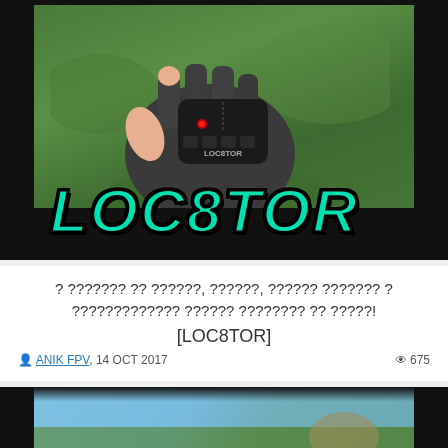[Figure (photo): Thumbnail image of a gloved hand holding a LOC8TOR device (small black remote), with green grass background and LOC8TOR branding text in teal/black italic font at the bottom.]
? ??????? ?? ??????, ??????, ?????? ??????? ? ????????????? ?????? ???????? ?? ?????!
[LOC8TOR]
ANIK FPV, 14 OCT 2017  675
[Figure (photo): Partial thumbnail of a second video, showing sky and outdoor scene, cropped at bottom of page.]